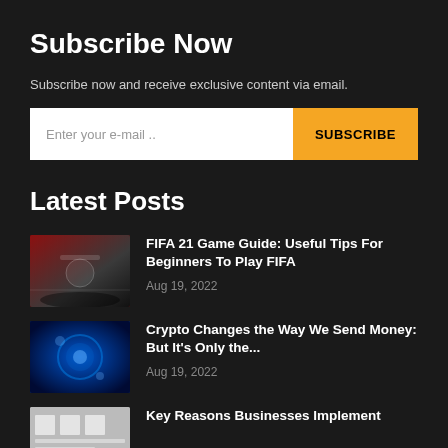Subscribe Now
Subscribe now and receive exclusive content via email.
Enter your e-mail .. SUBSCRIBE
Latest Posts
FIFA 21 Game Guide: Useful Tips For Beginners To Play FIFA
Aug 19, 2022
Crypto Changes the Way We Send Money: But It's Only the...
Aug 19, 2022
Key Reasons Businesses Implement